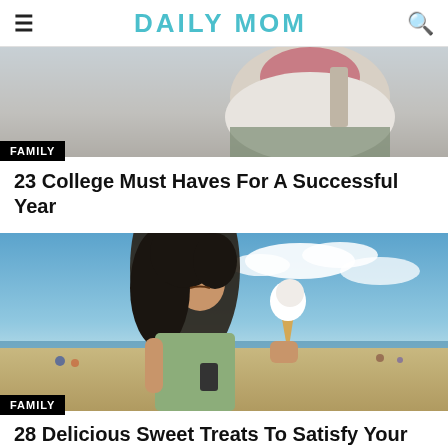DAILY MOM
[Figure (photo): Woman holding a bag, upper body shot with white background, partial view.]
FAMILY
23 College Must Haves For A Successful Year
[Figure (photo): Woman at a beach holding an ice cream cone, eyes closed, with blue sky and sandy beach in the background.]
FAMILY
28 Delicious Sweet Treats To Satisfy Your